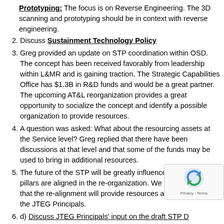Prototyping: The focus is on Reverse Engineering. The 3D scanning and prototyping should be in context with reverse engineering.
Discuss Sustainment Technology Policy
Greg provided an update on STP coordination within OSD. The concept has been received favorably from leadership within L&MR and is gaining traction. The Strategic Capabilities Office has $1.3B in R&D funds and would be a great partner. The upcoming AT&L reorganization provides a great opportunity to socialize the concept and identify a possible organization to provide resources.
A question was asked: What about the resourcing assets at the Service level? Greg replied that there have been discussions at that level and that some of the funds may be used to bring in additional resources.
The future of the STP will be greatly influenced on how the pillars are aligned in the re-organization. We are optimistic that the re-alignment will provide resources and top-cover for the JTEG Principals.
d) Discuss JTEG Principals' input on the draft STP D... Ray explained to the group that the draft DoDI attach... the invite has the comments/changes from the JTEG... conducted early in April, where roughly 40% of the DoDI...